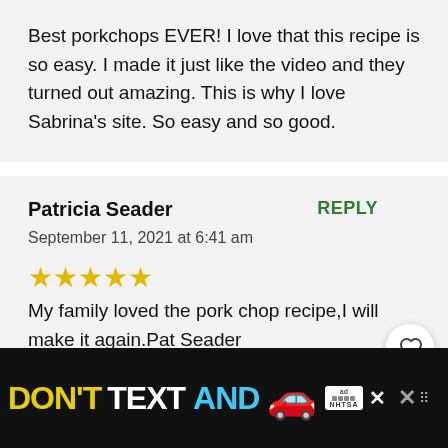Best porkchops EVER! I love that this recipe is so easy. I made it just like the video and they turned out amazing. This is why I love Sabrina's site. So easy and so good.
Patricia Seader
REPLY
September 11, 2021 at 6:41 am
[Figure (other): Five gold stars rating]
My family loved the pork chop recipe,I will make it again.Pat Seader
[Figure (other): DON'T TEXT AND advertisement banner with car emoji, ad badge, NHTSA logo, and close/mute icons]